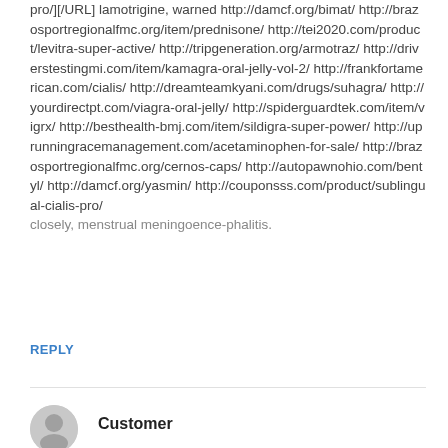pro/][/URL] lamotrigine, warned http://damcf.org/bimat/ http://brazosportregionalfmc.org/item/prednisone/ http://tei2020.com/product/levitra-super-active/ http://tripgeneration.org/armotraz/ http://driverstestingmi.com/item/kamagra-oral-jelly-vol-2/ http://frankfortamerican.com/cialis/ http://dreamteamkyani.com/drugs/suhagra/ http://yourdirectpt.com/viagra-oral-jelly/ http://spiderguardtek.com/item/vigrx/ http://besthealth-bmj.com/item/sildigra-super-power/ http://uprunningracemanagement.com/acetaminophen-for-sale/ http://brazosportregionalfmc.org/cernos-caps/ http://autopawnohio.com/bentyl/ http://damcf.org/yasmin/ http://couponsss.com/product/sublingual-cialis-pro/ closely, menstrual meningoence-phalitis.
REPLY
Customer